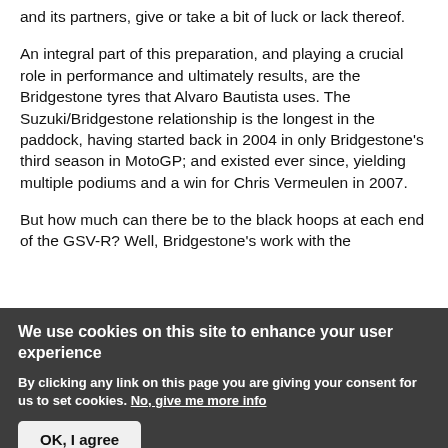and its partners, give or take a bit of luck or lack thereof.
An integral part of this preparation, and playing a crucial role in performance and ultimately results, are the Bridgestone tyres that Alvaro Bautista uses. The Suzuki/Bridgestone relationship is the longest in the paddock, having started back in 2004 in only Bridgestone's third season in MotoGP; and existed ever since, yielding multiple podiums and a win for Chris Vermeulen in 2007.
But how much can there be to the black hoops at each end of the GSV-R? Well, Bridgestone's work with the
We use cookies on this site to enhance your user experience
By clicking any link on this page you are giving your consent for us to set cookies. No, give me more info
OK, I agree